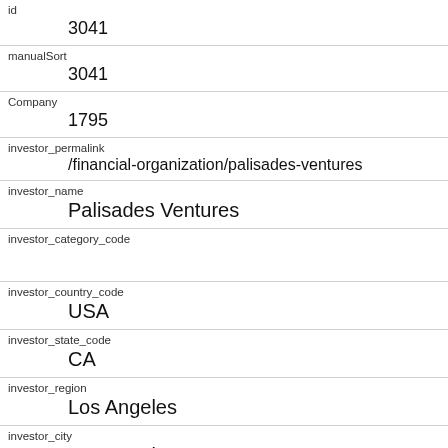| Field | Value |
| --- | --- |
| id | 3041 |
| manualSort | 3041 |
| Company | 1795 |
| investor_permalink | /financial-organization/palisades-ventures |
| investor_name | Palisades Ventures |
| investor_category_code |  |
| investor_country_code | USA |
| investor_state_code | CA |
| investor_region | Los Angeles |
| investor_city | Los Angeles |
| funding_round_type |  |